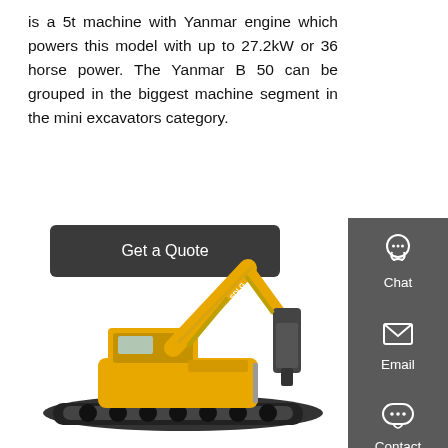is a 5t machine with Yanmar engine which powers this model with up to 27.2kW or 36 horse power. The Yanmar B 50 can be grouped in the biggest machine segment in the mini excavators category.
[Figure (other): A dark rounded-rectangle button labeled 'Get a Quote' on a white background]
[Figure (infographic): Right sidebar with dark grey background containing three icon+label items: Chat (headset icon), Email (envelope icon), Contact (speech bubble icon), separated by red horizontal dividers]
[Figure (photo): Yellow large excavator (SDLG branded) with a hydraulic attachment/hammer on the boom arm, photographed against a white background]